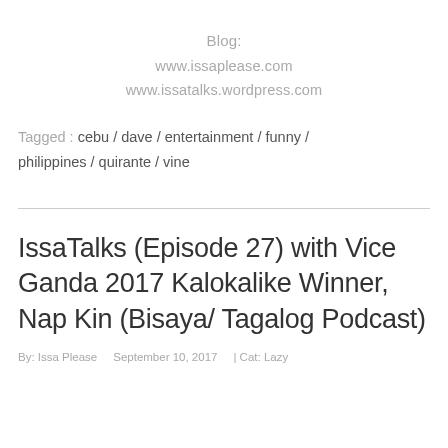Blog:
www.issaplease.com
www.issatalks.wordpress.com
Tagged : cebu / dave / entertainment / funny / philippines / quirante / vine
IssaTalks (Episode 27) with Vice Ganda 2017 Kalokalike Winner, Nap Kin (Bisaya/ Tagalog Podcast)
By: Issa Please   September 10, 2017   | Cat: Lazy